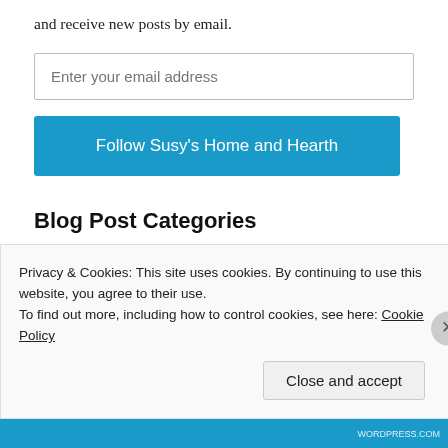and receive new posts by email.
Enter your email address
Follow Susy's Home and Hearth
Blog Post Categories
Baking (25)
Savory bakes (7)
Sweet bakes, cakes, and desserts (14)
Privacy & Cookies: This site uses cookies. By continuing to use this website, you agree to their use. To find out more, including how to control cookies, see here: Cookie Policy
Close and accept